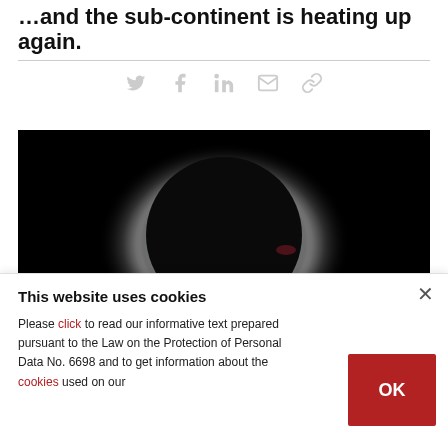…and the sub-continent is heating up again.
[Figure (other): Social sharing icons: Twitter, Facebook, LinkedIn, Email, Link]
[Figure (photo): Solar eclipse photograph showing a total eclipse with glowing corona against a black sky]
This website uses cookies
Please click to read our informative text prepared pursuant to the Law on the Protection of Personal Data No. 6698 and to get information about the cookies used on our